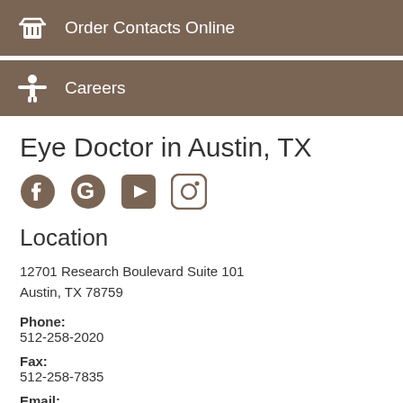Order Contacts Online
Careers
Eye Doctor in Austin, TX
[Figure (other): Social media icons: Facebook, Google, YouTube, Instagram]
Location
12701 Research Boulevard Suite 101
Austin, TX 78759
Phone: 512-258-2020
Fax: 512-258-7835
Email: